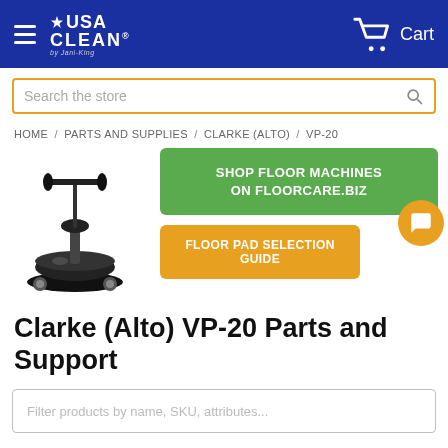USA CLEAN — Cart
Search the store
HOME / PARTS AND SUPPLIES / CLARKE (ALTO) / VP-20
[Figure (photo): Black and white illustration of a floor buffer/polishing machine (Clarke Alto VP-20)]
SHOP FLOOR MACHINES ON FLOORCARE.BIZ
FLOOR PAD SELECTION GUIDE
Clarke (Alto) VP-20 Parts and Support
Filter products by name, SKU, attributes...